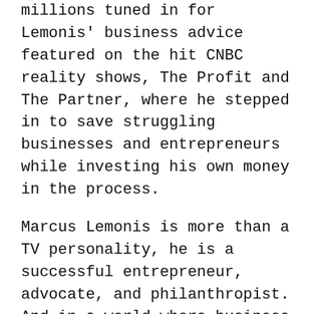millions tuned in for Lemonis' business advice featured on the hit CNBC reality shows, The Profit and The Partner, where he stepped in to save struggling businesses and entrepreneurs while investing his own money in the process.
Marcus Lemonis is more than a TV personality, he is a successful entrepreneur, advocate, and philanthropist. And in a world where business leaders are lauded for being cutthroat, Marcus does it all with heart and compassion for the people, process, and product he aspires to elevate. But as with many success stories, his road has not always been an easy one.
As a young man, Marcus honed his entrepreneurial spirit while working at his family's automotive dealership. By the age of 25, Marcus seized upon an opportunity to reshape